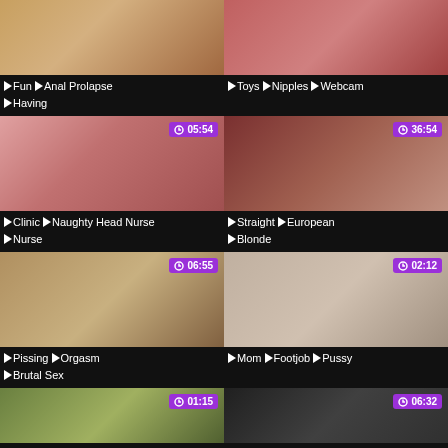[Figure (screenshot): Video thumbnail grid showing adult content thumbnails with tags and durations]
Fun  Anal Prolapse  Having
Toys  Nipples  Webcam
05:54 — Clinic  Naughty Head Nurse  Nurse
36:54 — Straight  European  Blonde
06:55 — Pissing  Orgasm  Brutal Sex
02:12 — Mom  Footjob  Pussy
01:15
06:32